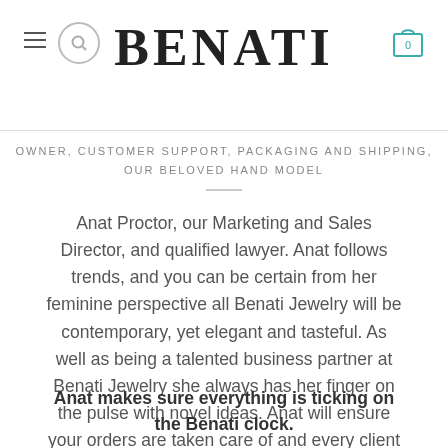BENATI
OWNER, CUSTOMER SUPPORT, PACKAGING AND SHIPPING, OUR BELOVED HAND MODEL
Anat Proctor, our Marketing and Sales Director, and qualified lawyer. Anat follows trends, and you can be certain from her feminine perspective all Benati Jewelry will be contemporary, yet elegant and tasteful. As well as being a talented business partner at Benati Jewelry she always has her finger on the pulse with novel ideas. Anat will ensure your orders are taken care of and every client at Benati is treated as a VIP.
Anat makes sure everything is ticking on the Benati clock.